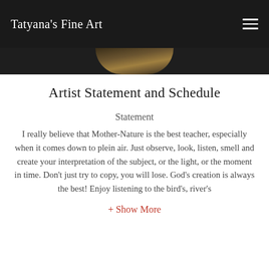Tatyana's Fine Art
[Figure (photo): Partial view of a circular portrait or artwork with dark background and warm tones, cropped at top of page]
Artist Statement and Schedule
Statement
I really believe that Mother-Nature is the best teacher, especially when it comes down to plein air. Just observe, look, listen, smell and create your interpretation of the subject, or the light, or the moment in time. Don't just try to copy, you will lose. God's creation is always the best! Enjoy listening to the bird's, river's
+ Show More